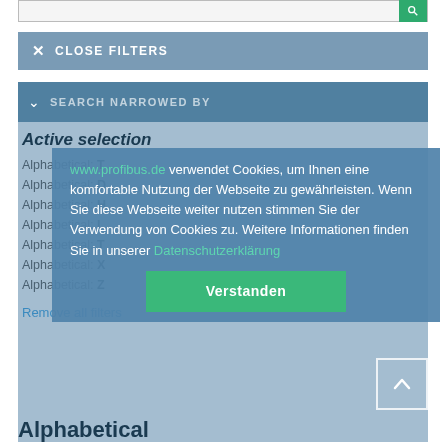[Figure (screenshot): Search input bar with green search button]
CLOSE FILTERS
SEARCH NARROWED BY
Active selection
Alphabetical: T
Alphabetical: D
Alphabetical: H
Alphabetical: I
Alphabetical: T
Alphabetical: X
Alphabetical: Z
Remove all filters
www.profibus.de verwendet Cookies, um Ihnen eine komfortable Nutzung der Webseite zu gewährleisten. Wenn Sie diese Webseite weiter nutzen stimmen Sie der Verwendung von Cookies zu. Weitere Informationen finden Sie in unserer Datenschutzerklärung
Verstanden
Alphabetical